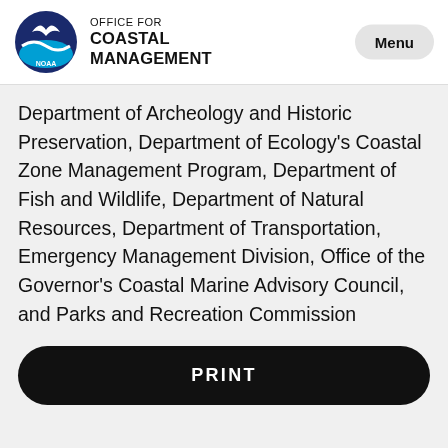[Figure (logo): NOAA circular logo with blue globe and white bird/wave design]
OFFICE FOR COASTAL MANAGEMENT
Department of Archeology and Historic Preservation, Department of Ecology's Coastal Zone Management Program, Department of Fish and Wildlife, Department of Natural Resources, Department of Transportation, Emergency Management Division, Office of the Governor's Coastal Marine Advisory Council, and Parks and Recreation Commission
PRINT